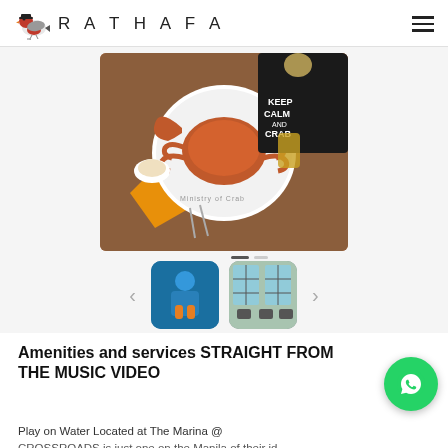RATHAFA
[Figure (photo): A top-down photo of a whole cooked crab on a white plate labeled 'Ministry of Crab', with a black 'Keep Calm and Crab' napkin, orange napkin, cutlery, small bowl, and drinks on a wooden table.]
[Figure (photo): Thumbnail of a person serving cocktails or drinks at a restaurant.]
[Figure (photo): Thumbnail of a restaurant interior with large windows and natural light.]
Amenities and services STRAIGHT FROM THE MUSIC VIDEO
Play on Water Located at The Marina @ CROSSROADS is just one on the Manila of their id...